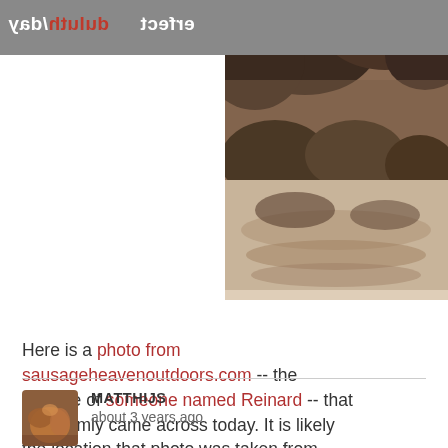duluth/day erfect
[Figure (photo): Sepia-toned photograph of a wooded outdoor scene with trees, bushes, and what appears to be a river or stream. The image is in brown/sepia tones.]
Here is a photo from sausageheavenoutdoors.com -- the website of someone named Reinard -- that I randomly came across today. It is likely the location that photo was taken from.
MATTHIJS
about 3 years ago